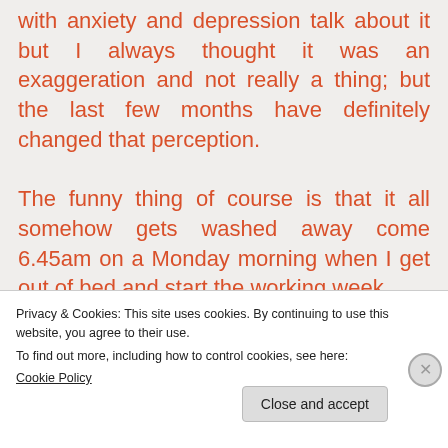with anxiety and depression talk about it but I always thought it was an exaggeration and not really a thing; but the last few months have definitely changed that perception.

The funny thing of course is that it all somehow gets washed away come 6.45am on a Monday morning when I get out of bed and start the working week
Privacy & Cookies: This site uses cookies. By continuing to use this website, you agree to their use.
To find out more, including how to control cookies, see here:
Cookie Policy
Close and accept